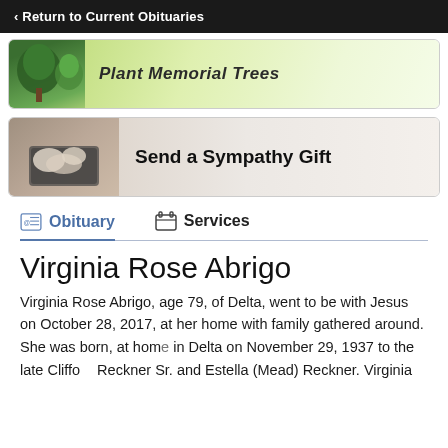< Return to Current Obituaries
[Figure (illustration): Banner with trees image and text 'Plant Memorial Trees']
[Figure (photo): Banner with sympathy gift items and text 'Send a Sympathy Gift']
Obituary | Services
Virginia Rose Abrigo
Virginia Rose Abrigo, age 79, of Delta, went to be with Jesus on October 28, 2017, at her home with family gathered around. She was born, at home in Delta on November 29, 1937 to the late Cliffe Reckner Sr. and Estella (Mead) Reckner. Virginia